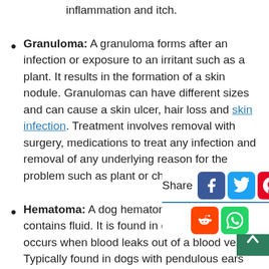inflammation and itch.
Granuloma: A granuloma forms after an infection or exposure to an irritant such as a plant. It results in the formation of a skin nodule. Granulomas can have different sizes and can cause a skin ulcer, hair loss and skin infection. Treatment involves removal with surgery, medications to treat any infection and removal of any underlying reason for the problem such as plant or chemical exposure.
Hematoma: A dog hematoma is a nodule that contains fluid. It is found in different shapes. It occurs when blood leaks out of a blood vessel. Typically found in dogs with pendulous ears and as the resul
Histiocy ... dogs that
[Figure (infographic): Social share bar with icons for Facebook, Twitter, Pinterest, Tumblr (row 1), Reddit, WhatsApp (row 2), with 'Share' label and blue underline]
[Figure (other): Green scroll-to-top button with white chevron up arrow in bottom right corner]
[Figure (other): Small grey downward triangle dropdown arrow]